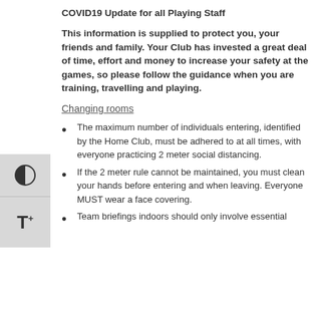COVID19 Update for all Playing Staff
This information is supplied to protect you, your friends and family. Your Club has invested a great deal of time, effort and money to increase your safety at the games, so please follow the guidance when you are training, travelling and playing.
Changing rooms
The maximum number of individuals entering, identified by the Home Club, must be adhered to at all times, with everyone practicing 2 meter social distancing.
If the 2 meter rule cannot be maintained, you must clean your hands before entering and when leaving. Everyone MUST wear a face covering.
Team briefings indoors should only involve essential